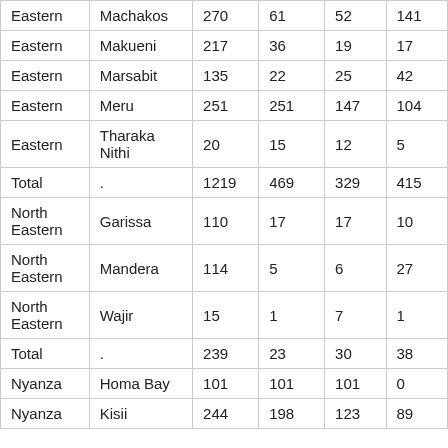| Eastern | Machakos | 270 | 61 | 52 | 141 |
| Eastern | Makueni | 217 | 36 | 19 | 17 |
| Eastern | Marsabit | 135 | 22 | 25 | 42 |
| Eastern | Meru | 251 | 251 | 147 | 104 |
| Eastern | Tharaka Nithi | 20 | 15 | 12 | 5 |
| Total | . | 1219 | 469 | 329 | 415 |
| North Eastern | Garissa | 110 | 17 | 17 | 10 |
| North Eastern | Mandera | 114 | 5 | 6 | 27 |
| North Eastern | Wajir | 15 | 1 | 7 | 1 |
| Total | . | 239 | 23 | 30 | 38 |
| Nyanza | Homa Bay | 101 | 101 | 101 | 0 |
| Nyanza | Kisii | 244 | 198 | 123 | 89 |